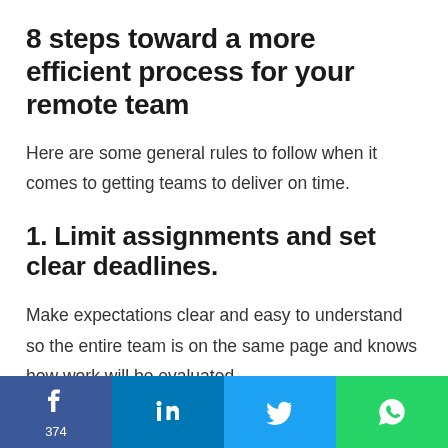8 steps toward a more efficient process for your remote team
Here are some general rules to follow when it comes to getting teams to deliver on time.
1. Limit assignments and set clear deadlines.
Make expectations clear and easy to understand so the entire team is on the same page and knows how work will be evaluated.
[Figure (infographic): Social media share bar with Facebook (374 shares), LinkedIn, Twitter, and WhatsApp buttons in a horizontal strip at the bottom of the page.]